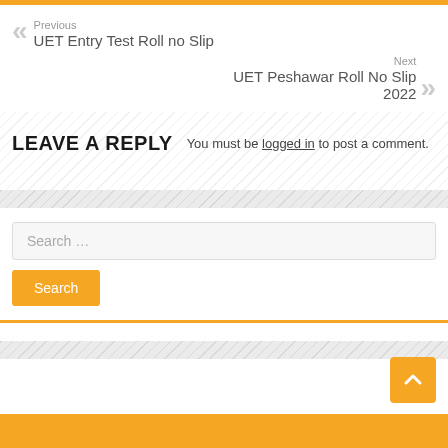Previous
UET Entry Test Roll no Slip
Next
UET Peshawar Roll No Slip 2022
LEAVE A REPLY
You must be logged in to post a comment.
Search …
Search